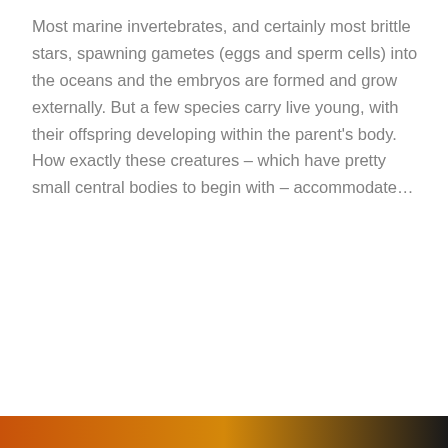Most marine invertebrates, and certainly most brittle stars, spawning gametes (eggs and sperm cells) into the oceans and the embryos are formed and grow externally. But a few species carry live young, with their offspring developing within the parent's body. How exactly these creatures – which have pretty small central bodies to begin with – accommodate…
READ MORE
Privacy & Cookies: This site uses cookies. By continuing to use this website, you agree to their use.
To find out more, including how to control cookies, see here: Cookie Policy
Close and accept
[Figure (photo): Bottom strip showing a partial image with orange/amber colors, likely a marine creature]